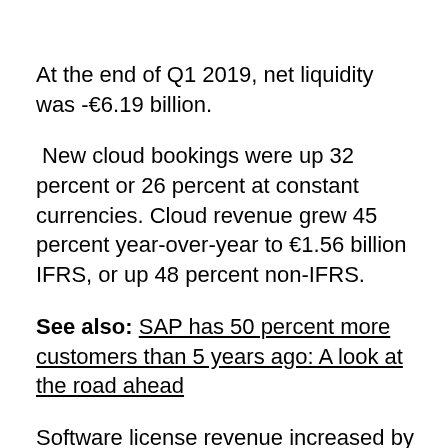At the end of Q1 2019, net liquidity was -€6.19 billion.
New cloud bookings were up 32 percent or 26 percent at constant currencies. Cloud revenue grew 45 percent year-over-year to €1.56 billion IFRS, or up 48 percent non-IFRS.
See also: SAP has 50 percent more customers than 5 years ago: A look at the road ahead
Software license revenue increased by 4 percent year-over-year to €650 million IFRS or 1 percent non-IFRS at constant currencies. Cloud and software revenue grew 10 percent year-over-year